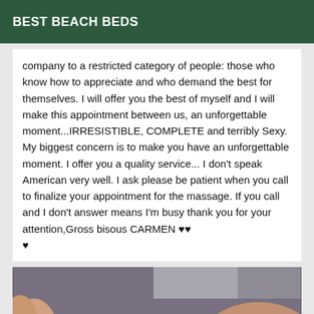BEST BEACH BEDS
company to a restricted category of people: those who know how to appreciate and who demand the best for themselves. I will offer you the best of myself and I will make this appointment between us, an unforgettable moment...IRRESISTIBLE, COMPLETE and terribly Sexy. My biggest concern is to make you have an unforgettable moment. I offer you a quality service... I don't speak American very well. I ask please be patient when you call to finalize your appointment for the massage. If you call and I don't answer means I'm busy thank you for your attention,Gross bisous CARMEN ♥♥♥
[Figure (photo): Close-up photo of a person's body]